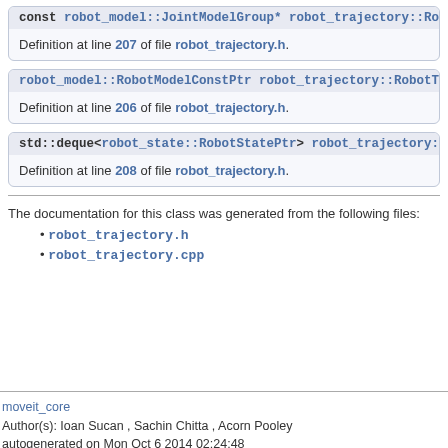const robot_model::JointModelGroup* robot_trajectory::RobotTraject...
Definition at line 207 of file robot_trajectory.h.
robot_model::RobotModelConstPtr robot_trajectory::RobotTrajectory...
Definition at line 206 of file robot_trajectory.h.
std::deque<robot_state::RobotStatePtr> robot_trajectory::RobotTraje...
Definition at line 208 of file robot_trajectory.h.
The documentation for this class was generated from the following files:
robot_trajectory.h
robot_trajectory.cpp
moveit_core
Author(s): Ioan Sucan , Sachin Chitta , Acorn Pooley
autogenerated on Mon Oct 6 2014 02:24:48